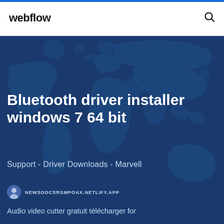webflow
[Figure (illustration): World map silhouette on dark blue background used as hero section backdrop]
Bluetooth driver installer windows 7 64 bit
Support - Driver Downloads - Marvell
NEWSDOCSRSMPOAX.NETLIFY.APP
Audio video cutter gratuit télécharger for